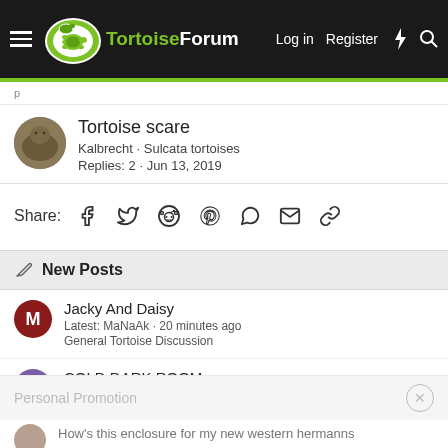TortoiseForum — Log in  Register
Tortoise scare
Kalbrecht · Sulcata tortoises
Replies: 2 · Jun 13, 2019
Share:
New Posts
Jacky And Daisy
Latest: MaNaAk · 20 minutes ago
General Tortoise Discussion
COLD DARK ROOM
Latest: zolasmum · 33 minutes ago
Personal Promotion
How's this enclosure for my new western hermanns